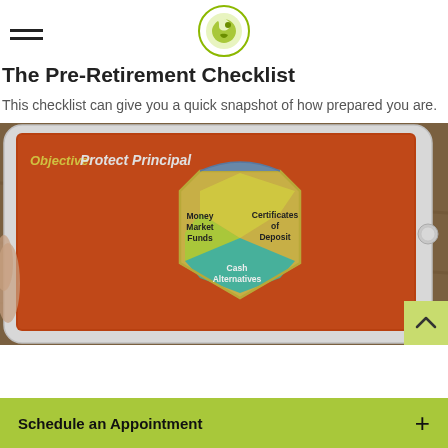The Pre-Retirement Checklist
This checklist can give you a quick snapshot of how prepared you are.
[Figure (photo): Photo of hands holding a tablet showing a slide with 'Objective: Protect Principal' and a shield graphic containing sections labeled Money Market Funds, Certificates of Deposit, and Cash Alternatives on an orange background.]
Schedule an Appointment +